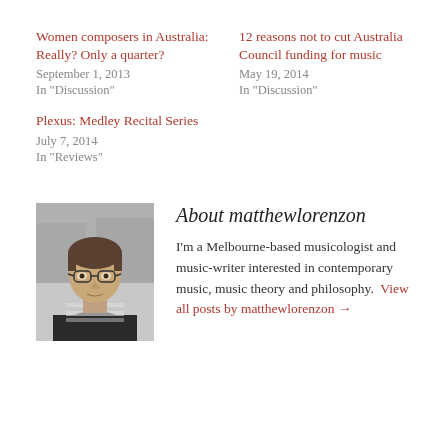Women composers in Australia: Really? Only a quarter?
September 1, 2013
In "Discussion"
12 reasons not to cut Australia Council funding for music
May 19, 2014
In "Discussion"
Plexus: Medley Recital Series
July 7, 2014
In "Reviews"
[Figure (photo): Black and white portrait photo of matthewlorenzon, a person wearing glasses and a striped shirt with a dark jacket, photographed outdoors]
About matthewlorenzon
I'm a Melbourne-based musicologist and music-writer interested in contemporary music, music theory and philosophy. View all posts by matthewlorenzon →